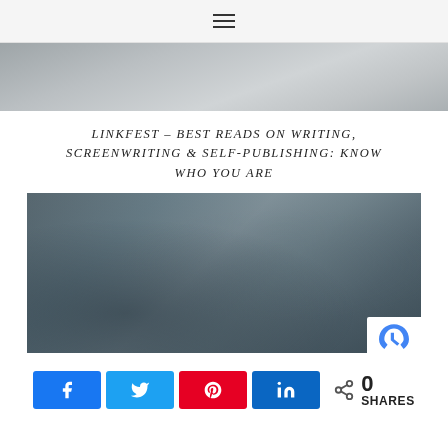☰
[Figure (photo): Partial top image showing a desk scene, partially cropped]
LINKFEST – BEST READS ON WRITING, SCREENWRITING & SELF-PUBLISHING: KNOW WHO YOU ARE
[Figure (photo): Overhead view of a person's hands with a coffee cup, bowl of granola, books and an open notebook on a wooden table. A reCAPTCHA badge is visible in the bottom right corner.]
< 0 SHARES (share bar with Facebook, Twitter, Pinterest, LinkedIn buttons)